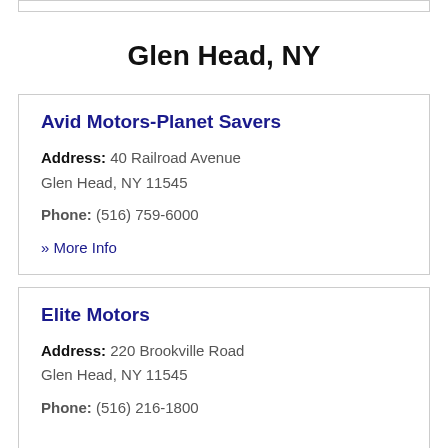Glen Head, NY
Avid Motors-Planet Savers
Address: 40 Railroad Avenue Glen Head, NY 11545
Phone: (516) 759-6000
» More Info
Elite Motors
Address: 220 Brookville Road Glen Head, NY 11545
Phone: (516) 216-1800